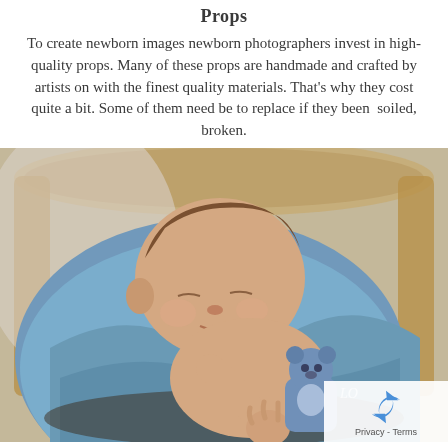Props
To create newborn images newborn photographers invest in high-quality props. Many of these props are handmade and crafted by artists on with the finest quality materials. That's why they cost quite a bit. Some of them need be to replace if they been  soiled, broken.
[Figure (photo): A newborn baby sleeping in a basket wrapped in a blue blanket, holding a small blue knitted teddy bear. A privacy/reCAPTCHA badge is visible in the bottom right corner.]